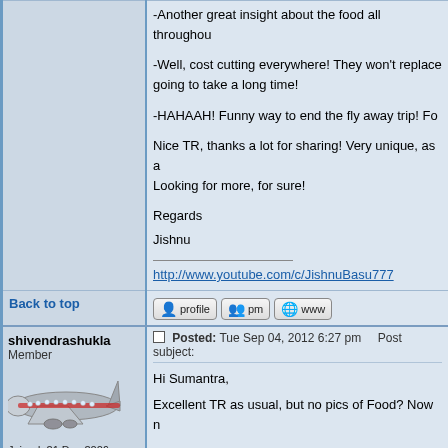-Another great insight about the food all throughout...
-Well, cost cutting everywhere! They won't replace... going to take a long time!
-HAHAAH! Funny way to end the fly away trip! Foo...
Nice TR, thanks a lot for sharing! Very unique, as ... Looking for more, for sure!
Regards
Jishnu
http://www.youtube.com/c/JishnuBasu777
Back to top
shivendrashukla
Member
Joined: 21 Dec 2006
Posts: 1354
Location: Mumbai, India
Posted: Tue Sep 04, 2012 6:27 pm    Post subject:
Hi Sumantra,
Excellent TR as usual, but no pics of Food? Now n...
Cheers
Shivendra
Back to top